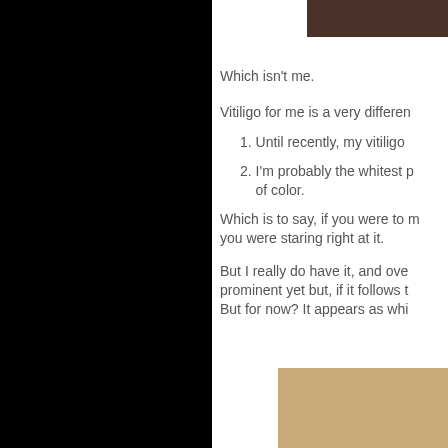[Figure (photo): Close-up photo of dark skin tone, showing upper right portion of the page]
Which isn't me.
Vitiligo for me is a very differen...
1. Until recently, my vitiligo...
2. I'm probably the whitest p... of color.
Which is to say, if you were to... you were staring right at it.
But I really do have it, and ove... prominent yet but, if it follows t... But for now? It appears as whi...
[Figure (photo): Close-up photo of light/beige skin tone showing vitiligo, bottom right of page]